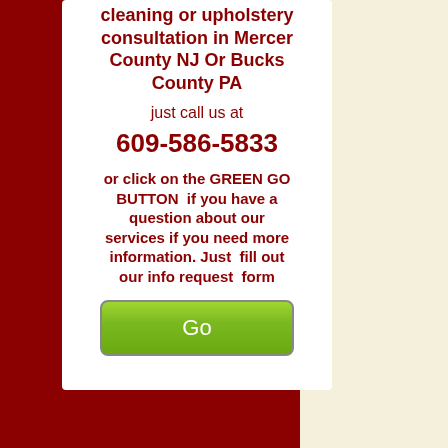cleaning or upholstery consultation in Mercer County NJ Or Bucks County PA
just call us at
609-586-5833
or click on the GREEN GO BUTTON  if you have a question about our services if you need more information. Just  fill out our info request  form
[Figure (other): Green Go button]